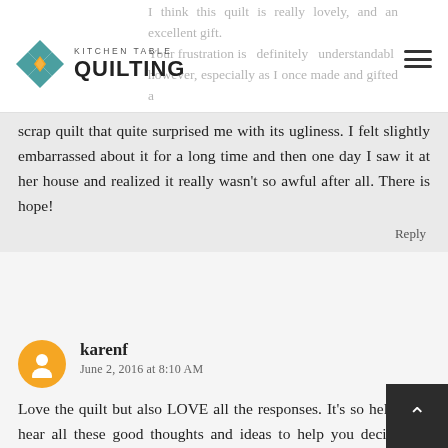Kitchen Table Quilting
I think this quilt is really lovely, and an excellent gift. Your frustration is definitely understandable however, especially as I once made and gifted a scrap quilt that quite surprised me with its ugliness. I felt slightly embarrassed about it for a long time and then one day I saw it at her house and realized it really wasn't so awful after all. There is hope!
Reply
karenf
June 2, 2016 at 8:10 AM
Love the quilt but also LOVE all the responses. It's so helpful to hear all these good thoughts and ideas to help you decide. (or swim in indecision) waiting to hear why you DID make a new quilt w you had others in the stash. Maybe you thought this